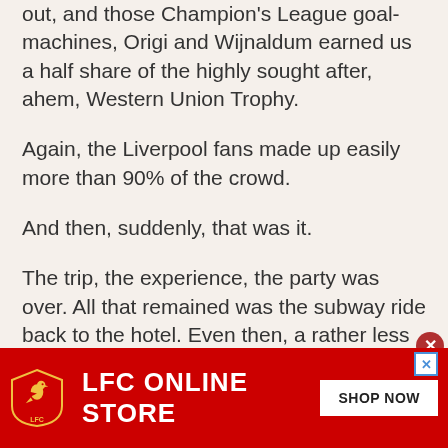out, and those Champion's League goal-machines, Origi and Wijnaldum earned us a half share of the highly sought after, ahem, Western Union Trophy.
Again, the Liverpool fans made up easily more than 90% of the crowd.
And then, suddenly, that was it.
The trip, the experience, the party was over. All that remained was the subway ride back to the hotel. Even then, a rather less packed but still busy New York subway ride full of Liverpool shirts was something quite surreal to behold.
[Figure (other): LFC Online Store advertisement banner with red background, LFC badge logo, text LFC ONLINE STORE, and SHOP NOW button]